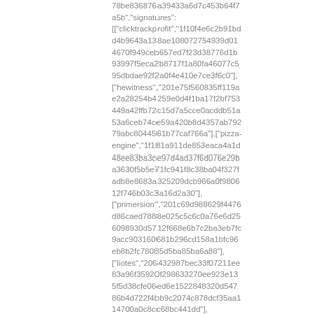78be836876a39433a6d7c453b64f7a5b","signatures": [["clicktrackprofit","1f10f4e6c2b91bdd4b9643a138ae108072754939d014670f949ceb657ed7f23d38776d1b93997f5eca2b8717f1a80fa46077c595dbdae92f2a0f4e410e7ce3f6c0"],["hewitness","201e75f560835ff119ae2a28254b4259e0d4f1ba17f2bf753449a42ffb72c15d7a5cce0acddb51a53a6ceb74ce59a420b8d4357ab79279abc8044561b77caf766a"],["pizza-engine","1f181a911de853eaca4a1d48ee83ba3ce97d4ad37f6d076e29ba3630f5b5e71fc941f8c38ba04f327fadb8e8683a325209dcb966a0f980612f746b03c3a16d2a30"], ["primersion","201c69d988629f4476d86caed7888e025c5c6c0a76e6d256098930d5712f668e6b7c2ba3eb7fc9acc903160681b296cd158a1bfc96eb8b2fc78085d5ba85ba6a88"],["liotes","206432987bec33f07211ee83a96f35920f298633270ee923e135f5d38cfe06ed6e1522848320d54786b4d722f4bb9c2074c878dcf35aa114700a0c8cc68bc441dd"],